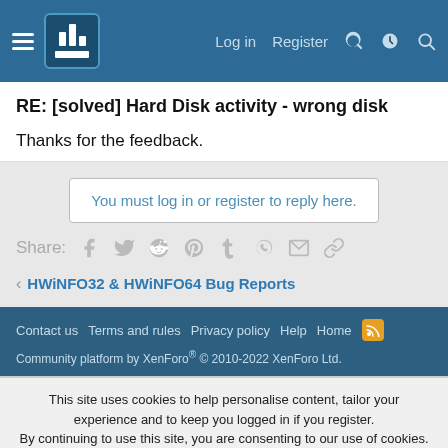Log in  Register
RE: [solved] Hard Disk activity - wrong disk
Thanks for the feedback.
You must log in or register to reply here.
Share:
HWiNFO32 & HWiNFO64 Bug Reports
Contact us  Terms and rules  Privacy policy  Help  Home
Community platform by XenForo® © 2010-2022 XenForo Ltd.
This site uses cookies to help personalise content, tailor your experience and to keep you logged in if you register. By continuing to use this site, you are consenting to our use of cookies.